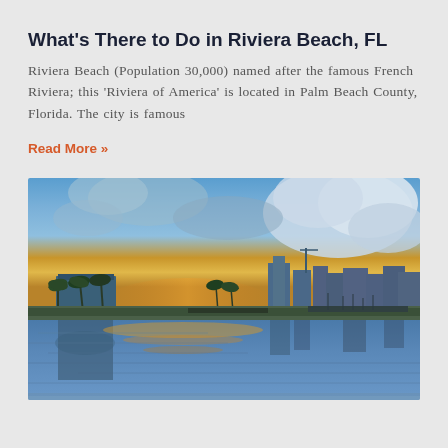What’s There to Do in Riviera Beach, FL
Riviera Beach (Population 30,000) named after the famous French Riviera; this ‘Riviera of America’ is located in Palm Beach County, Florida. The city is famous
Read More »
[Figure (photo): Panoramic waterfront photo of Riviera Beach, FL skyline at sunset with dramatic blue and golden cloudy sky reflected in calm water, palm trees and modern buildings visible.]